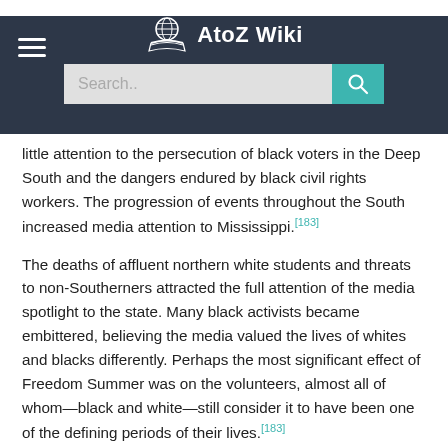AtoZ Wiki
little attention to the persecution of black voters in the Deep South and the dangers endured by black civil rights workers. The progression of events throughout the South increased media attention to Mississippi.[183]
The deaths of affluent northern white students and threats to non-Southerners attracted the full attention of the media spotlight to the state. Many black activists became embittered, believing the media valued the lives of whites and blacks differently. Perhaps the most significant effect of Freedom Summer was on the volunteers, almost all of whom—black and white—still consider it to have been one of the defining periods of their lives.[183]
Civil Rights Act of 1964